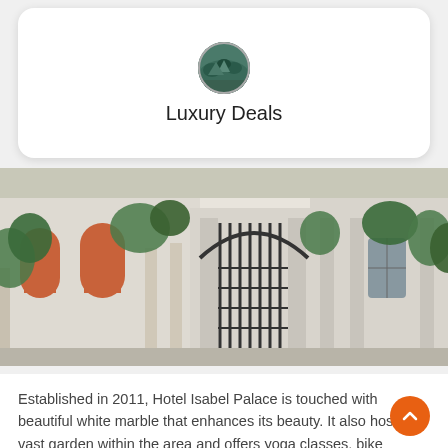[Figure (logo): Circular logo with landscape/mountain image]
Luxury Deals
[Figure (photo): Hotel Isabel Palace exterior — white building with ornate black iron gates, arched windows, and greenery]
Established in 2011, Hotel Isabel Palace is touched with beautiful white marble that enhances its beauty. It also hosts a vast garden within the area and offers yoga classes, bike renting services, and expert palmistry, among other stimulating things.
Read More
Newly Added Khajuraho Experience
[Figure (photo): Aerial/landscape photo of Khajuraho greenery and terrain]
[Figure (photo): Green paddy field / lawn photo]